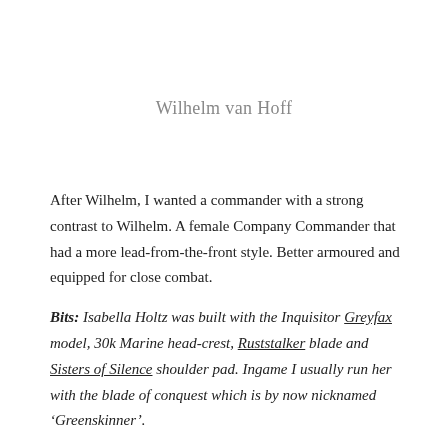Wilhelm van Hoff
After Wilhelm, I wanted a commander with a strong contrast to Wilhelm. A female Company Commander that had a more lead-from-the-front style. Better armoured and equipped for close combat.
Bits: Isabella Holtz was built with the Inquisitor Greyfax model, 30k Marine head-crest, Ruststalker blade and Sisters of Silence shoulder pad. Ingame I usually run her with the blade of conquest which is by now nicknamed ‘Greenskinner’.